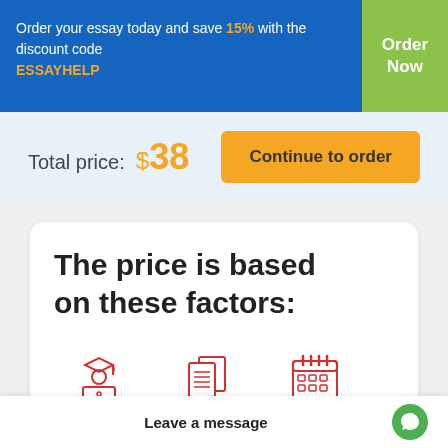Order your essay today and save 15% with the discount code ESSAYHELP
Total price: $38
Continue to order
The price is based on these factors:
[Figure (illustration): Red line icon of a student wearing graduation cap at laptop]
Academic level
[Figure (illustration): Red line icon of stacked documents/pages]
Number of pages
[Figure (illustration): Red line icon of a calendar]
Leave a message